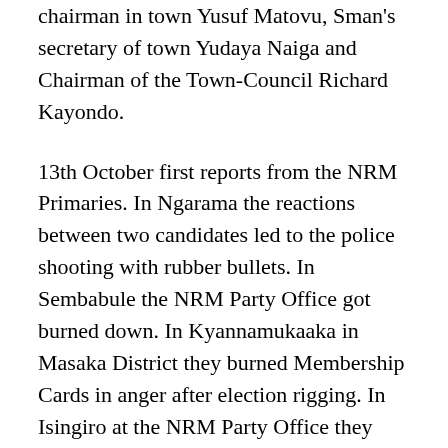chairman in town Yusuf Matovu, Sman's secretary of town Yudaya Naiga and Chairman of the Town-Council Richard Kayondo.
13th October first reports from the NRM Primaries. In Ngarama the reactions between two candidates led to the police shooting with rubber bullets. In Sembabule the NRM Party Office got burned down. In Kyannamukaaka in Masaka District they burned Membership Cards in anger after election rigging. In Isingiro at the NRM Party Office they we're burning documents from the Election of 2011.
Also on the 13th October Bank of Uganda took over the management of Imperial Bank